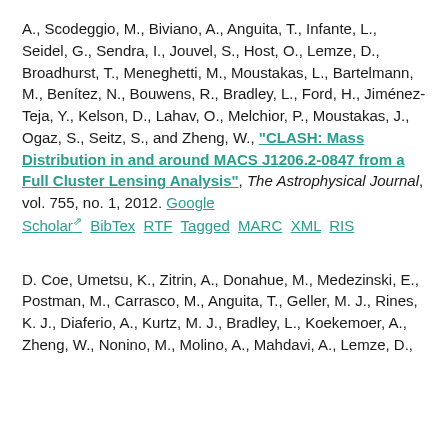A., Scodeggio, M., Biviano, A., Anguita, T., Infante, L., Seidel, G., Sendra, I., Jouvel, S., Host, O., Lemze, D., Broadhurst, T., Meneghetti, M., Moustakas, L., Bartelmann, M., Benítez, N., Bouwens, R., Bradley, L., Ford, H., Jiménez-Teja, Y., Kelson, D., Lahav, O., Melchior, P., Moustakas, J., Ogaz, S., Seitz, S., and Zheng, W., "CLASH: Mass Distribution in and around MACS J1206.2-0847 from a Full Cluster Lensing Analysis", The Astrophysical Journal, vol. 755, no. 1, 2012. Google Scholar BibTex RTF Tagged MARC XML RIS
D. Coe, Umetsu, K., Zitrin, A., Donahue, M., Medezinski, E., Postman, M., Carrasco, M., Anguita, T., Geller, M. J., Rines, K. J., Diaferio, A., Kurtz, M. J., Bradley, L., Koekemoer, A., Zheng, W., Nonino, M., Molino, A., Mahdavi, A., Lemze, D.,